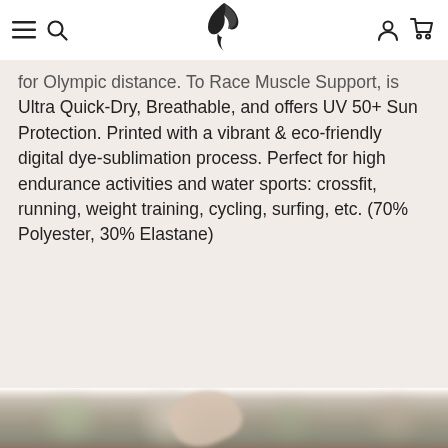Navigation header with hamburger menu, search icon, bird logo, account icon, and cart icon
...for Olympic distance. To Race Muscle Support, is Ultra Quick-Dry, Breathable, and offers UV 50+ Sun Protection. Printed with a vibrant & eco-friendly digital dye-sublimation process. Perfect for high endurance activities and water sports: crossfit, running, weight training, cycling, surfing, etc. (70% Polyester, 30% Elastane)
[Figure (photo): Blurred outdoor photo showing a person's raised hand/arm, with bokeh background of green foliage]